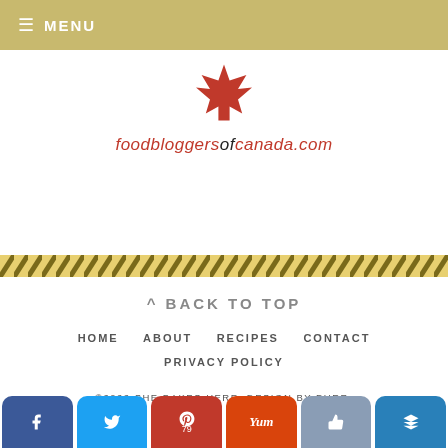≡ MENU
[Figure (logo): Red maple leaf logo above foodbloggersofcanada.com text]
[Figure (other): Diagonal yellow/black hazard stripe divider]
^ BACK TO TOP
HOME   ABOUT   RECIPES   CONTACT
PRIVACY POLICY
©2022 SHE BAKES HERE. DESIGN BY PURR.
[Figure (other): Social sharing buttons: Facebook, Twitter, Pinterest (79), Yummly, Like, Crown]